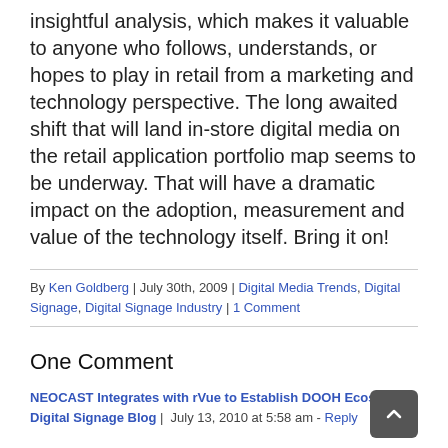insightful analysis, which makes it valuable to anyone who follows, understands, or hopes to play in retail from a marketing and technology perspective. The long awaited shift that will land in-store digital media on the retail application portfolio map seems to be underway. That will have a dramatic impact on the adoption, measurement and value of the technology itself. Bring it on!
By Ken Goldberg | July 30th, 2009 | Digital Media Trends, Digital Signage, Digital Signage Industry | 1 Comment
One Comment
NEOCAST Integrates with rVue to Establish DOOH Ecosystem Digital Signage Blog | July 13, 2010 at 5:58 am - Reply